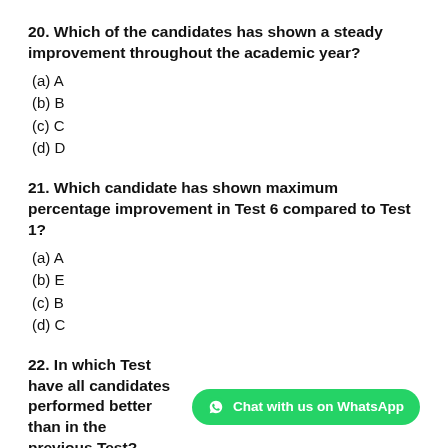20. Which of the candidates has shown a steady improvement throughout the academic year?
(a) A
(b) B
(c) C
(d) D
21. Which candidate has shown maximum percentage improvement in Test 6 compared to Test 1?
(a) A
(b) E
(c) B
(d) C
22. In which Test have all candidates performed better than in the previous Test?
(a) Test 6